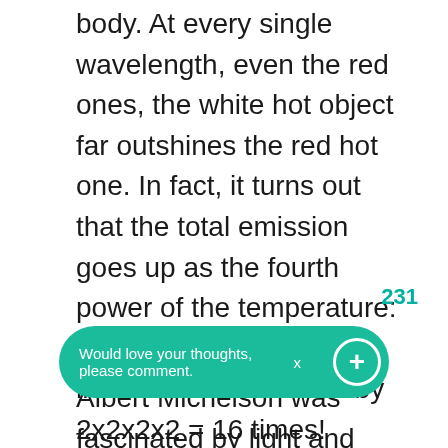body. At every single wavelength, even the red ones, the white hot object far outshines the red hot one. In fact, it turns out that the total emission goes up as the fourth power of the temperature: Double the temperature, increase the emission by 2x2x2x2 = 16 times!
Michelson and Morley
Albert Michelson was fascinated by light and experimented on it a lot. He pioneered the use of the interferometer...and I'm not going to try
231